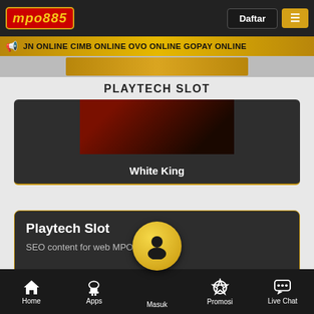[Figure (logo): MPO885 logo in red with gold border]
Daftar
≡
JN ONLINE CIMB ONLINE OVO ONLINE GOPAY ONLINE
PLAYTECH SLOT
[Figure (photo): White King slot game thumbnail with dark background]
White King
Playtech Slot
SEO content for web MPO885
Home  Apps  Masuk  Promosi  Live Chat